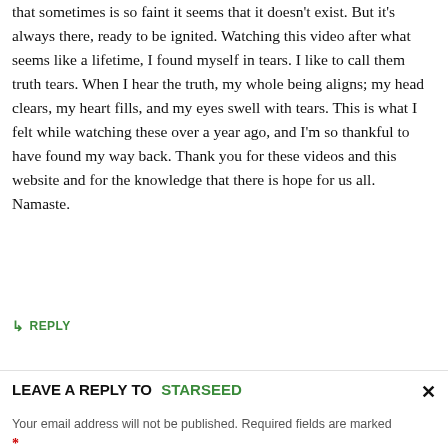that sometimes is so faint it seems that it doesn't exist. But it's always there, ready to be ignited. Watching this video after what seems like a lifetime, I found myself in tears. I like to call them truth tears. When I hear the truth, my whole being aligns; my head clears, my heart fills, and my eyes swell with tears. This is what I felt while watching these over a year ago, and I'm so thankful to have found my way back. Thank you for these videos and this website and for the knowledge that there is hope for us all. Namaste.
↳ REPLY
LEAVE A REPLY TO STARSEED ×
Your email address will not be published. Required fields are marked *